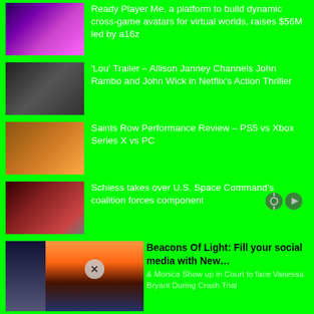Ready Player Me, a platform to build dynamic cross-game avatars for virtual worlds, raises $56M led by a16z
'Lou' Trailer – Allison Janney Channels John Rambo and John Wick in Netflix's Action Thriller
Saints Row Performance Review – PS5 vs Xbox Series X vs PC
Schiess takes over U.S. Space Command's coalition forces component
Beacons Of Light: Fill your social media with New… & Monica Show up in Court to face Vanessa Bryant During Crash Trial